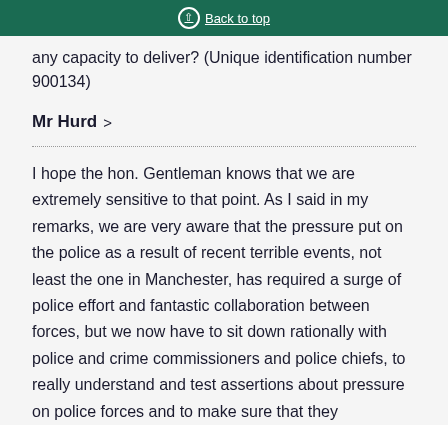Back to top
any capacity to deliver? (Unique identification number 900134)
Mr Hurd >
I hope the hon. Gentleman knows that we are extremely sensitive to that point. As I said in my remarks, we are very aware that the pressure put on the police as a result of recent terrible events, not least the one in Manchester, has required a surge of police effort and fantastic collaboration between forces, but we now have to sit down rationally with police and crime commissioners and police chiefs, to really understand and test assertions about pressure on police forces and to make sure that they